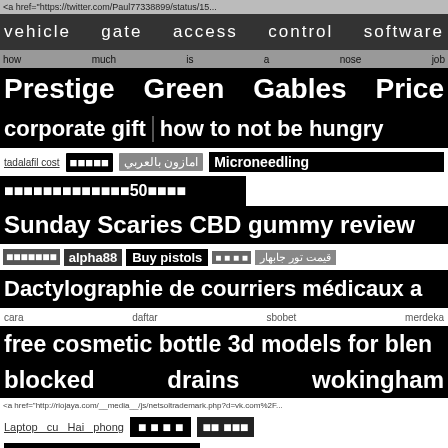<a href="https://twitter.com/Paul77338899/status/15...
vehicle gate access control software
how much is a nose job
Prestige Green Gables Price
corporate gift how to not be hungry
tadalafil cost [squares] امازون بالعربي Microneedling
[squares]50[squares]
Sunday Scaries CBD gummy review
[squares] alpha88 Buy pistols [squares] قيمت تور جابهار
Dactylographie de courriers médicaux a
cara daftar sbobet merdeka
free cosmetic bottle 3d models for blen
blocked drains wokingham
<a href="http://riojaya.com/__media__/js/netsoltrademark.php?d=vk.com%2F...
Laptop cu Hai phong [squares] [squares]
620 credit score romantic rose love
<a href="https://twitter.com/Bykow5/status/149957425169893378 6">"https://tw
[squares] Local Housekeeping butt connector Rgo365